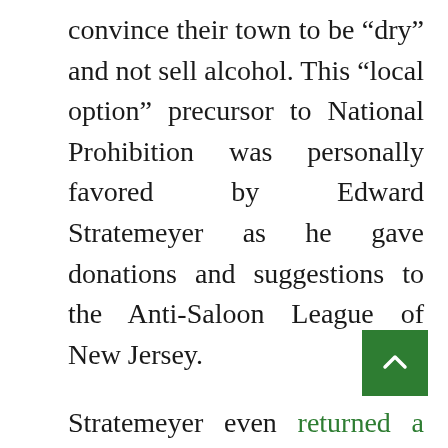convince their town to be “dry” and not sell alcohol. This “local option” precursor to National Prohibition was personally favored by Edward Stratemeyer as he gave donations and suggestions to the Anti-Saloon League of New Jersey.
Stratemeyer even returned a Christmas gift to a publisher (L.C. Page) of a book of cocktail recipes, stating that he had not had alcohol in his home for many years.